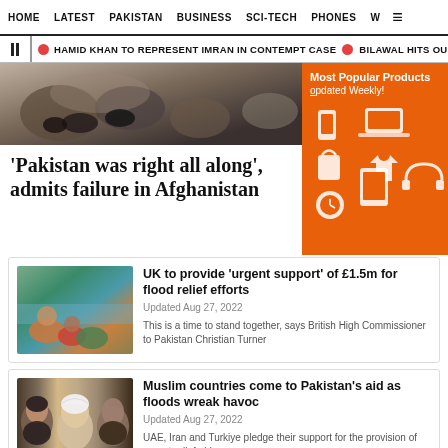HOME | LATEST | PAKISTAN | BUSINESS | SCI-TECH | PHONES | W ≡
HAMID KHAN TO REPRESENT IMRAN IN CONTEMPT CASE   BILAWAL HITS OU
[Figure (photo): Hero image showing people in Afghanistan, partially covered by an orange advertisement banner for 'Most Popular Products Updated Weekly!']
'Pakistan was right all along', admits failure in Afghanistan
[Figure (photo): Children and adults sitting by a riverbank or flood area, wrapped in colorful cloth - flood relief story image]
UK to provide 'urgent support' of £1.5m for flood relief efforts
Updated Aug 27, 2022
This is a time to stand together, says British High Commissioner to Pakistan Christian Turner
[Figure (photo): Three Muslim leaders/politicians shown side by side - heads of state photo for Muslim countries aid story]
Muslim countries come to Pakistan's aid as floods wreak havoc
Updated Aug 27, 2022
UAE, Iran and Turkiye pledge their support for the provision of urgent relief aid